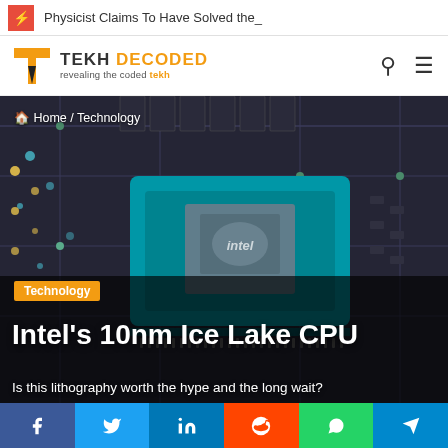⚡ Physicist Claims To Have Solved the_
[Figure (logo): Tekh Decoded logo with orange T icon and tagline 'revealing the coded tekh']
[Figure (photo): Close-up render of an Intel 10nm Ice Lake CPU chip on a circuit board with teal/blue heat spreader and Intel logo]
🏠 Home / Technology
Technology
Intel's 10nm Ice Lake CPU
Is this lithography worth the hype and the long wait?
[Figure (infographic): Social share bar with Facebook, Twitter, LinkedIn, Reddit, WhatsApp, and Telegram buttons]